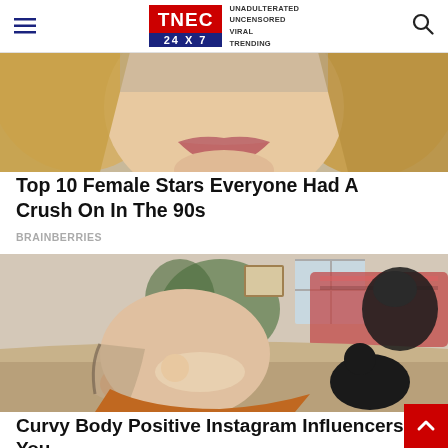TNEC 24X7 | UNADULTERATED UNCENSORED VIRAL TRENDING
[Figure (photo): Cropped close-up photo of a blonde woman's face showing chin, lips, and hair]
Top 10 Female Stars Everyone Had A Crush On In The 90s
BRAINBERRIES
[Figure (photo): Photo of a tattooed woman breastfeeding a baby on a couch with dogs nearby]
Curvy Body Positive Instagram Influencers You